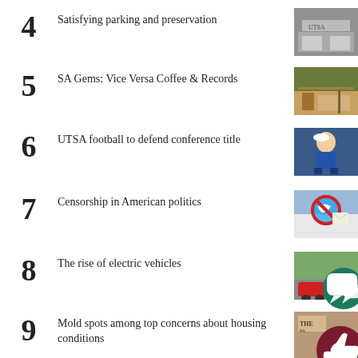4  Satisfying parking and preservation
5  SA Gems: Vice Versa Coffee & Records
6  UTSA football to defend conference title
7  Censorship in American politics
8  The rise of electric vehicles
9  Mold spots among top concerns about housing conditions